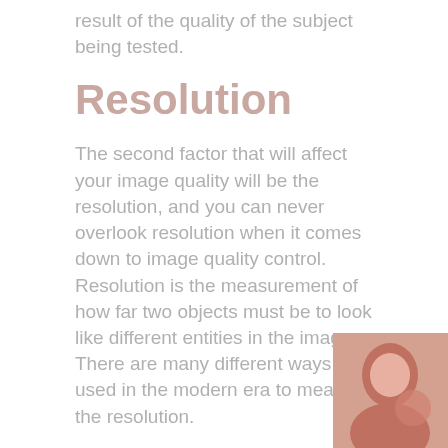result of the quality of the subject being tested.
Resolution
The second factor that will affect your image quality will be the resolution, and you can never overlook resolution when it comes down to image quality control. Resolution is the measurement of how far two objects must be to look like different entities in the image. There are many different ways used in the modern era to measure the resolution.
In addition to understanding what resolution is and how it affects image quality control, you will also need to go through the different factors that affect resolution. If the system's resolution will be too high, then there is no way the system will show the image. If the spatial object frequency will be higher than the MTF will always be lower. The system will never differentiate between t
[Figure (photo): Decorative image in bottom-right corner showing partial view of a person or figure, pinkish-red tones]